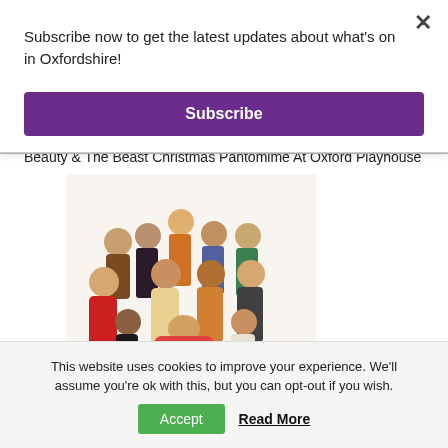Subscribe now to get the latest updates about what's on in Oxfordshire!
Subscribe
Beauty & The Beast Christmas Pantomime At Oxford Playhouse
[Figure (photo): Cast photo of Beauty & The Beast Christmas Pantomime at Oxford Playhouse — group of performers in colourful pantomime costumes on white background]
This website uses cookies to improve your experience. We'll assume you're ok with this, but you can opt-out if you wish.
Accept
Read More